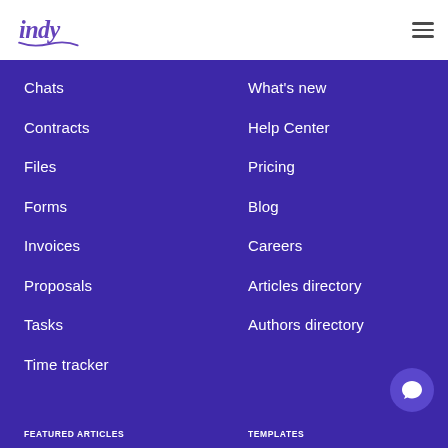indy [logo] [hamburger menu]
Chats
Contracts
Files
Forms
Invoices
Proposals
Tasks
Time tracker
What's new
Help Center
Pricing
Blog
Careers
Articles directory
Authors directory
FEATURED ARTICLES    TEMPLATES